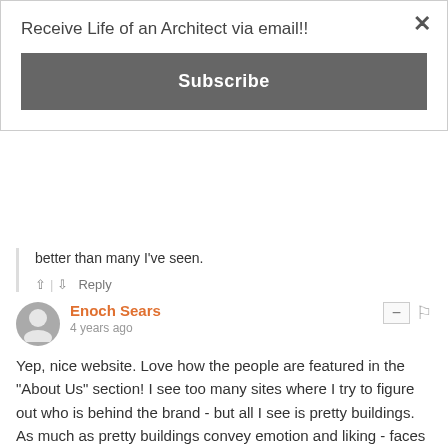Receive Life of an Architect via email!!
Subscribe
better than many I've seen.
Reply
Enoch Sears
4 years ago
Yep, nice website. Love how the people are featured in the "About Us" section! I see too many sites where I try to figure out who is behind the brand - but all I see is pretty buildings. As much as pretty buildings convey emotion and liking - faces do a lot more.
Reply
Bob Borson → Enoch Sears
4 years ago
Thanks Enoch - it is my hope that eventually these pages will flesh out a bit and become even more personalized. I am a strong advocate that the people in my office should be well